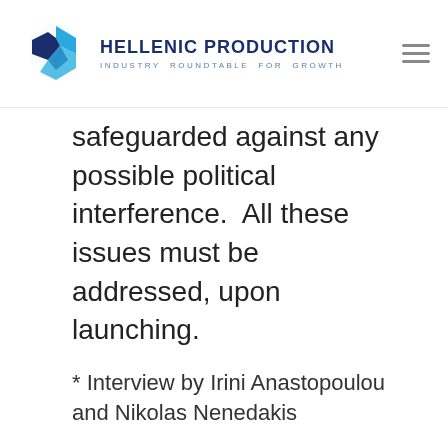HELLENIC PRODUCTION INDUSTRY ROUNDTABLE FOR GROWTH
safeguarded against any possible political interference.  All these issues must be addressed, upon launching.
* Interview by Irini Anastopoulou and Nikolas Nenedakis
[Figure (other): Blue hexagon share button icon]